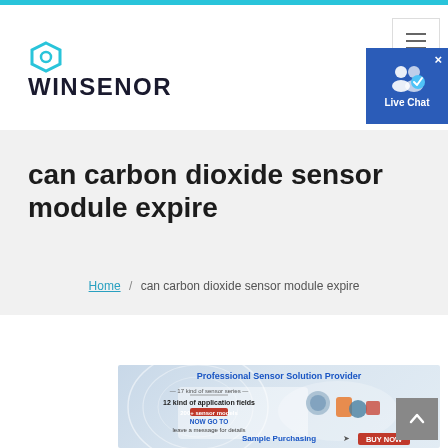WINSENOR
can carbon dioxide sensor module expire
Home / can carbon dioxide sensor module expire
[Figure (photo): Winsenor promotional banner: Professional Sensor Solution Provider. 17 kind of sensor series, 12 kind of application fields, 200+ sensor models. NOW GO TO leave a message for details. Sample Purchasing BUY NOW.]